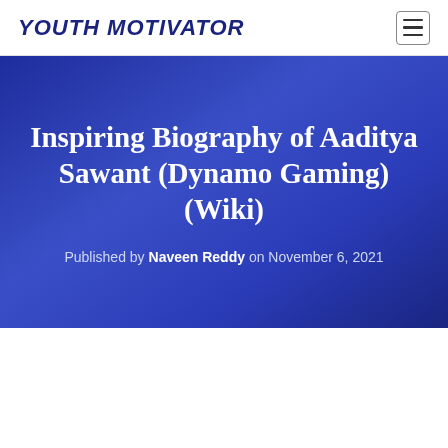YOUTH MOTIVATOR
Inspiring Biography of Aaditya Sawant (Dynamo Gaming) (Wiki)
Published by Naveen Reddy on November 6, 2021